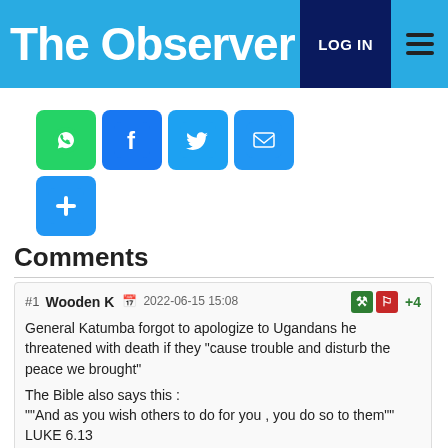The Observer | LOG IN
[Figure (infographic): Social share buttons: WhatsApp (green), Facebook (blue), Twitter (light blue), Email (blue), Plus/More (blue)]
Comments
#1 Wooden K 2022-06-15 15:08 +4
General Katumba forgot to apologize to Ugandans he threatened with death if they "cause trouble and disturb the peace we brought"

The Bible also says this :
""And as you wish others to do for you , you do so to them"" LUKE 6.13

This means that if there was a time when some Ugandans were angry enough to protest , others should have the same right to .
Where there is no peace for every God`s people, there is no peace for no one.